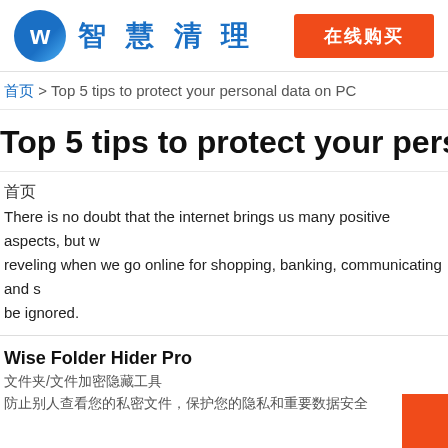智慧清理  在线购买
首页 > Top 5 tips to protect your personal data on PC
Top 5 tips to protect your personal
首页
There is no doubt that the internet brings us many positive aspects, but we are reveling when we go online for shopping, banking, communicating and so... be ignored.
Wise Folder Hider Pro
文件夹/文件加密隐藏工具
防止别人查看您的私密文件，保护您的隐私和重要数据安全